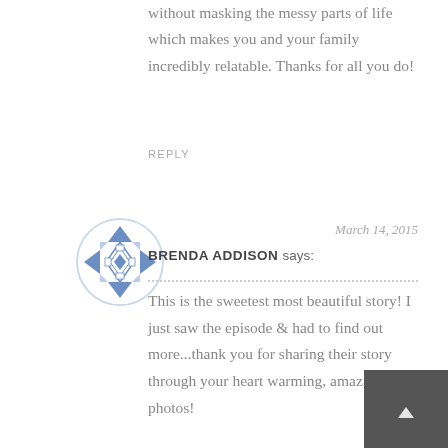without masking the messy parts of life which makes you and your family incredibly relatable. Thanks for all you do!
REPLY
[Figure (illustration): Circular avatar with blue and white geometric/quilt pattern design]
March 14, 2015
BRENDA ADDISON SAYS:
This is the sweetest most beautiful story! I just saw the episode & had to find out more...thank you for sharing their story through your heart warming, amazing photos!